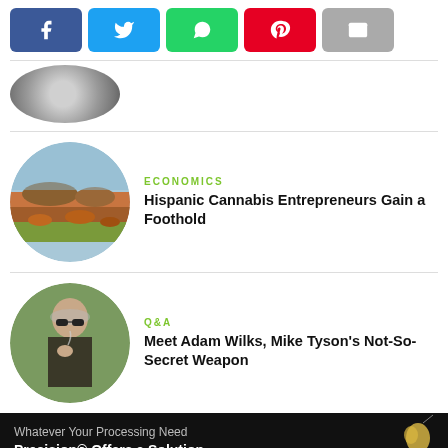[Figure (screenshot): Social share buttons: Facebook (blue), Twitter (light blue), WhatsApp (green), Pinterest (red), Email (grey)]
[Figure (photo): Circular thumbnail showing a desert landscape with orange shrubs and mountains at dusk]
ECONOMICS
Hispanic Cannabis Entrepreneurs Gain a Foothold
[Figure (photo): Circular thumbnail showing a man with sunglasses smoking]
Q&A
Meet Adam Wilks, Mike Tyson's Not-So-Secret Weapon
[Figure (photo): Advertisement banner with dark background: 'Whatever Your Processing Need — Precision® Offers a Solution' with a glass figure on the right and PRECISION logo text at bottom]